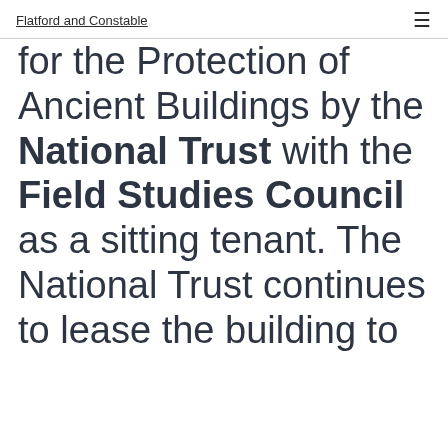Flatford and Constable
for the Protection of Ancient Buildings by the National Trust with the Field Studies Council as a sitting tenant. The National Trust continues to lease the building to